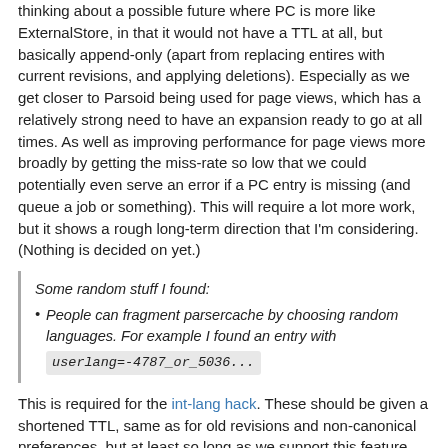thinking about a possible future where PC is more like ExternalStore, in that it would not have a TTL at all, but basically append-only (apart from replacing entires with current revisions, and applying deletions). Especially as we get closer to Parsoid being used for page views, which has a relatively strong need to have an expansion ready to go at all times. As well as improving performance for page views more broadly by getting the miss-rate so low that we could potentially even serve an error if a PC entry is missing (and queue a job or something). This will require a lot more work, but it shows a rough long-term direction that I'm considering. (Nothing is decided on yet.)
Some random stuff I found:
People can fragment parsercache by choosing random languages. For example I found an entry with userlang=-4787_or_5036...
This is required for the int-lang hack. These should be given a shortened TTL, same as for old revisions and non-canonical preferences, but at least so long as we support this feature, still worth caching I imagine.